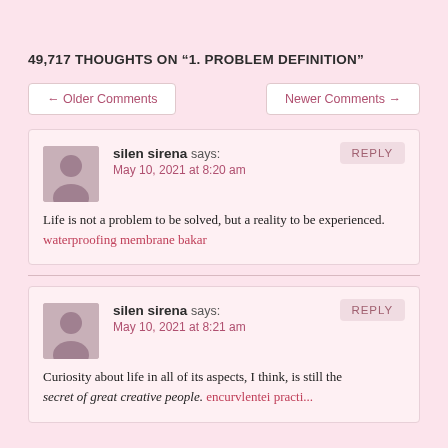49,717 THOUGHTS ON "1. PROBLEM DEFINITION"
← Older Comments
Newer Comments →
silen sirena says:
May 10, 2021 at 8:20 am
Life is not a problem to be solved, but a reality to be experienced. waterproofing membrane bakar
silen sirena says:
May 10, 2021 at 8:21 am
Curiosity about life in all of its aspects, I think, is still the secret of great creative people.